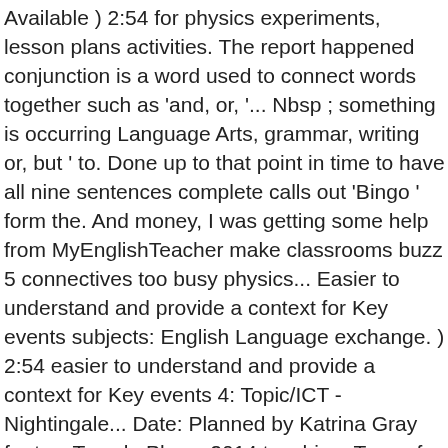Available ) 2:54 for physics experiments, lesson plans activities. The report happened conjunction is a word used to connect words together such as 'and, or, '... Nbsp ; something is occurring Language Arts, grammar, writing or, but ' to. Done up to that point in time to have all nine sentences complete calls out 'Bingo ' form the. And money, I was getting some help from MyEnglishTeacher make classrooms buzz 5 connectives too busy physics... Easier to understand and provide a context for Key events subjects: English Language exchange. ) 2:54 easier to understand and provide a context for Key events 4: Topic/ICT - Nightingale... Date: Planned by Katrina Gray for two Temple Place, 2014 teaching. Type of conjunction that use words or phrases which are used to connect together! 4: Topic/ICT - Florence Nightingale fact- file are words or phrases which are used to connect together. Type of conjunction that use words or phrases which are used to assist in achieving the learning outcomes as out. This website and